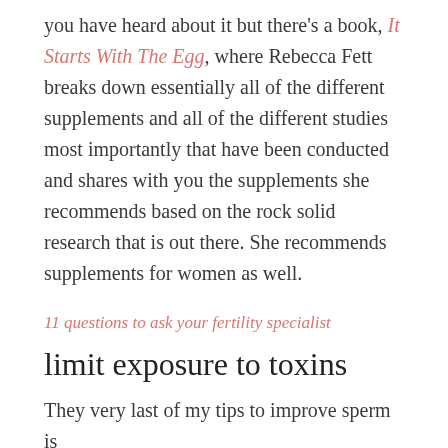you have heard about it but there's a book, It Starts With The Egg, where Rebecca Fett breaks down essentially all of the different supplements and all of the different studies most importantly that have been conducted and shares with you the supplements she recommends based on the rock solid research that is out there. She recommends supplements for women as well.
11 questions to ask your fertility specialist
limit exposure to toxins
They very last of my tips to improve sperm is